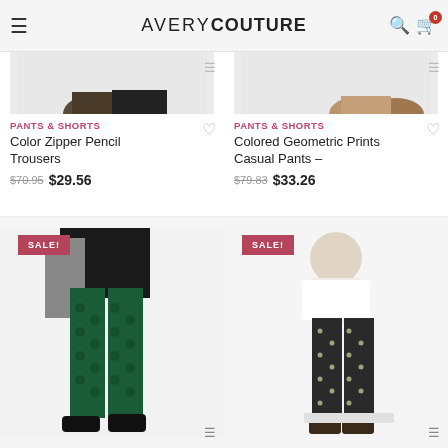AVERY COUTURE
[Figure (photo): Partial view of shoes/feet from top product row left - Color Zipper Pencil Trousers]
PANTS & SHORTS
Color Zipper Pencil Trousers
$70.95 $29.56
[Figure (photo): Partial view of sandals/feet from top product row right - Colored Geometric Prints Casual Pants]
PANTS & SHORTS
Colored Geometric Prints Casual Pants –
$79.83 $33.26
[Figure (photo): SALE! Model wearing dark green geometric print pants with black platform shoes]
[Figure (photo): SALE! Model wearing white crop top and black dotted print pants with dark sandals]